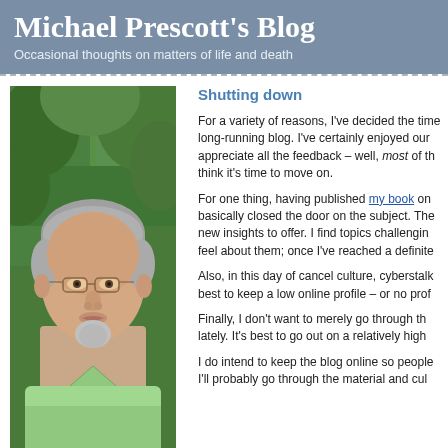Michael Prescott's Blog
Occasional thoughts on matters of life and death
[Figure (photo): Headshot photo of a middle-aged man with gray hair, glasses, and a goatee, wearing a light green shirt, standing in front of green foliage/trees outdoors.]
Shutting down
For a variety of reasons, I've decided the time has come to shut down this long-running blog. I've certainly enjoyed our conversations here, and I appreciate all the feedback – well, most of the feedback – and I do think it's time to move on.
For one thing, having published my book on the subject, I feel I've basically closed the door on the subject. There's not much more in the way of new insights to offer. I find topics challenging and interesting while I figure out how I feel about them; once I've reached a definite
Also, in this day of cancel culture, cyberstalking, and online harassment, it seems best to keep a low online profile – or no prof
Finally, I don't want to merely go through the motions, but that's what I've been doing lately. It's best to go out on a relatively high n
I do intend to keep the blog online so people can access the archives, though I'll probably go through the material and cull